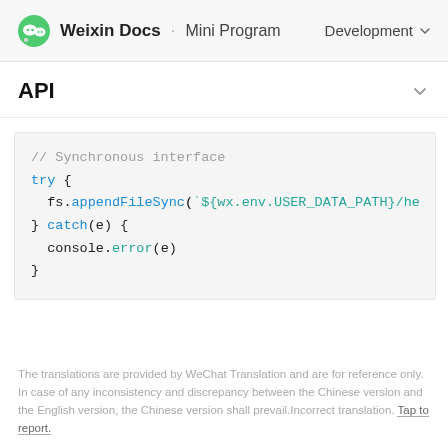Weixin Docs · Mini Program — Development
API
// Synchronous interface
try {
  fs.appendFileSync(`${wx.env.USER_DATA_PATH}/he
} catch(e) {
  console.error(e)
}
The translations are provided by WeChat Translation and are for reference only. In case of any inconsistency and discrepancy between the Chinese version and the English version, the Chinese version shall prevail.Incorrect translation. Tap to report.